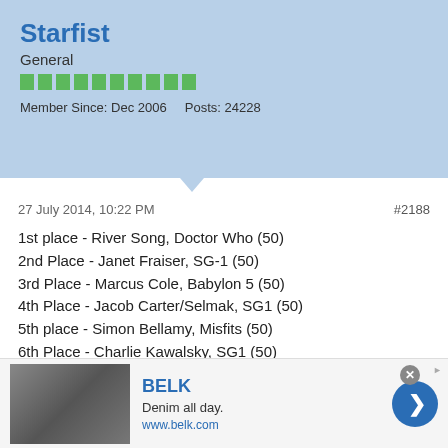Starfist
General
Member Since: Dec 2006   Posts: 24228
27 July 2014, 10:22 PM
#2188
1st place - River Song, Doctor Who (50)
2nd Place - Janet Fraiser, SG-1 (50)
3rd Place - Marcus Cole, Babylon 5 (50)
4th Place - Jacob Carter/Selmak, SG1 (50)
5th place - Simon Bellamy, Misfits (50)
6th Place - Charlie Kawalsky, SG1 (50)
7th Place - Ianto Jones, Torchwood (50)
8th Place - Jadzia Dax, Star Trek DS9 (50)
9th Place - Shepherd Book, Serenity (50)
10th Place - Carson Beckett, SGA (50)
11th Place - John Mitchell, Being Human (50)
12th Place - President Laura Roslin, BSG (50)
[Figure (infographic): BELK advertisement banner: image of women in denim on left, BELK brand name in blue, tagline 'Denim all day.', URL www.belk.com, blue arrow button on right, close X button top right]